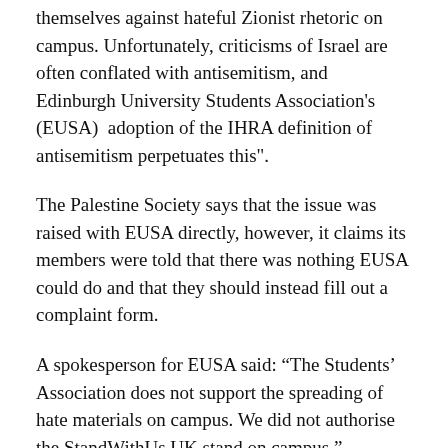themselves against hateful Zionist rhetoric on campus. Unfortunately, criticisms of Israel are often conflated with antisemitism, and Edinburgh University Students Association's (EUSA) adoption of the IHRA definition of antisemitism perpetuates this".
The Palestine Society says that the issue was raised with EUSA directly, however, it claims its members were told that there was nothing EUSA could do and that they should instead fill out a complaint form.
A spokesperson for EUSA said: “The Students’ Association does not support the spreading of hate materials on campus. We did not authorise the StandWithUs UK stand on campus.”